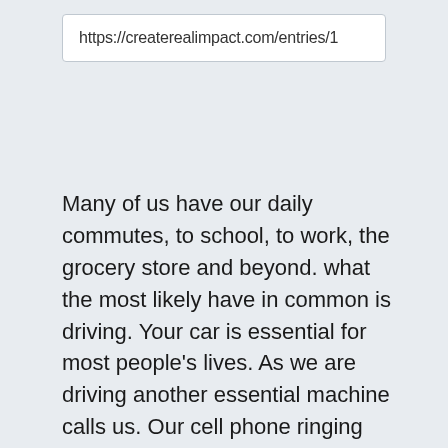https://createrealimpact.com/entries/1
Many of us have our daily commutes, to school, to work, the grocery store and beyond. what the most likely have in common is driving. Your car is essential for most people's lives. As we are driving another essential machine calls us. Our cell phone ringing and dinging with Facebook, Instagram, Facetime and your mom's butt dials. We